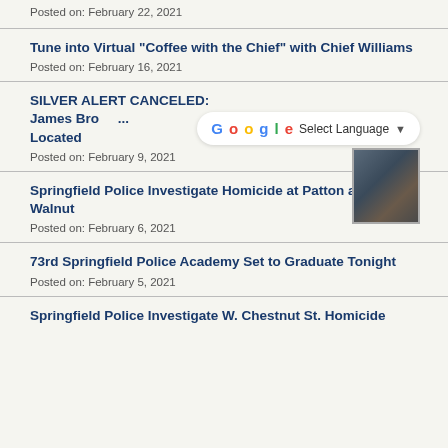Posted on: February 22, 2021
Tune into Virtual "Coffee with the Chief" with Chief Williams
Posted on: February 16, 2021
SILVER ALERT CANCELED: James Br... Located
Posted on: February 9, 2021
Springfield Police Investigate Homicide at Patton and Walnut
Posted on: February 6, 2021
73rd Springfield Police Academy Set to Graduate Tonight
Posted on: February 5, 2021
Springfield Police Investigate W. Chestnut St. Homicide